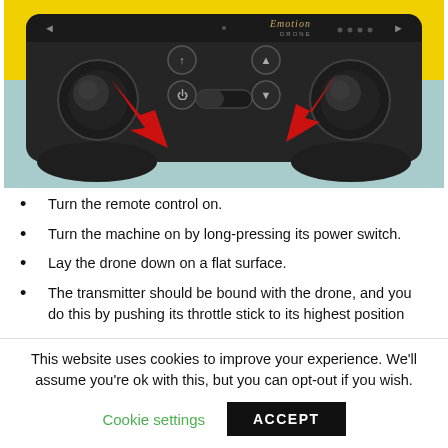[Figure (photo): Photo of a dark grey Emotion Drone remote control transmitter with two joysticks and various buttons, photographed against a yellow and blue background. Two red arrows point diagonally inward toward the base of the controller, indicating the throttle stick positions.]
Turn the remote control on.
Turn the machine on by long-pressing its power switch.
Lay the drone down on a flat surface.
The transmitter should be bound with the drone, and you do this by pushing its throttle stick to its highest position
This website uses cookies to improve your experience. We'll assume you're ok with this, but you can opt-out if you wish.
Cookie settings  ACCEPT